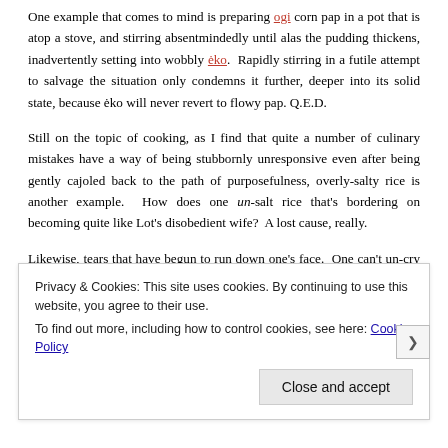One example that comes to mind is preparing ogi corn pap in a pot that is atop a stove, and stirring absentmindedly until alas the pudding thickens, inadvertently setting into wobbly ėko. Rapidly stirring in a futile attempt to salvage the situation only condemns it further, deeper into its solid state, because ėko will never revert to flowy pap. Q.E.D.
Still on the topic of cooking, as I find that quite a number of culinary mistakes have a way of being stubbornly unresponsive even after being gently cajoled back to the path of purposefulness, overly-salty rice is another example. How does one un-salt rice that's bordering on becoming quite like Lot's disobedient wife? A lost cause, really.
Likewise, tears that have begun to run down one's face. One can't un-cry those, so might as well have a good cry, ruined mascara or
Privacy & Cookies: This site uses cookies. By continuing to use this website, you agree to their use. To find out more, including how to control cookies, see here: Cookie Policy